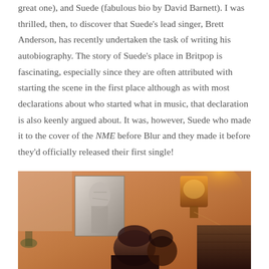great one), and Suede (fabulous bio by David Barnett). I was thrilled, then, to discover that Suede's lead singer, Brett Anderson, has recently undertaken the task of writing his autobiography. The story of Suede's place in Britpop is fascinating, especially since they are often attributed with starting the scene in the first place although as with most declarations about who started what in music, that declaration is also keenly argued about. It was, however, Suede who made it to the cover of the NME before Blur and they made it before they'd officially released their first single!
[Figure (photo): A dimly lit, warm-toned photograph showing a room interior with a person or people in shadow at the bottom center, a black-and-white poster on the wall, a lamp with warm orange glow on the right, and stacked items on the right side.]